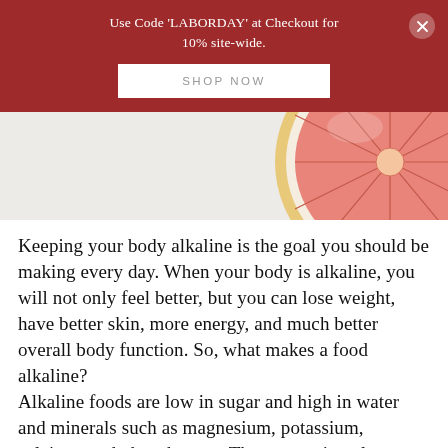Use Code 'LABORDAY' at Checkout for 10% site-wide.
SHOP NOW
[Figure (photo): Half a pink/red grapefruit on a white/light grey background, positioned in the upper right portion of the image.]
Keeping your body alkaline is the goal you should be making every day. When your body is alkaline, you will not only feel better, but you can lose weight, have better skin, more energy, and much better overall body function. So, what makes a food alkaline?
Alkaline foods are low in sugar and high in water and minerals such as magnesium, potassium, calcium, and phosphorous. These are minerals necessary for your body to process all nutrients on a cellular level.
What makes a food acidic?